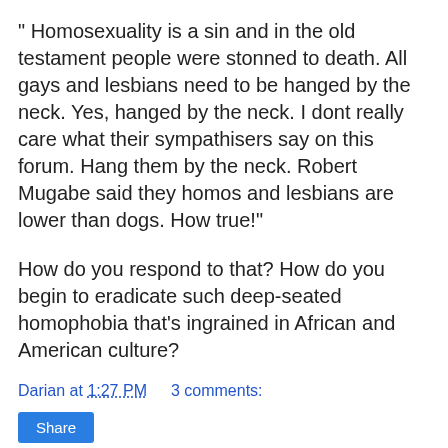" Homosexuality is a sin and in the old testament people were stonned to death. All gays and lesbians need to be hanged by the neck. Yes, hanged by the neck. I dont really care what their sympathisers say on this forum. Hang them by the neck. Robert Mugabe said they homos and lesbians are lower than dogs. How true!"
How do you respond to that? How do you begin to eradicate such deep-seated homophobia that's ingrained in African and American culture?
Darian at 1:27 PM    3 comments:
Share
Author & Bishop Terry Angel Mason To The Black Church: "Don't Blame Me For Your Mess!"